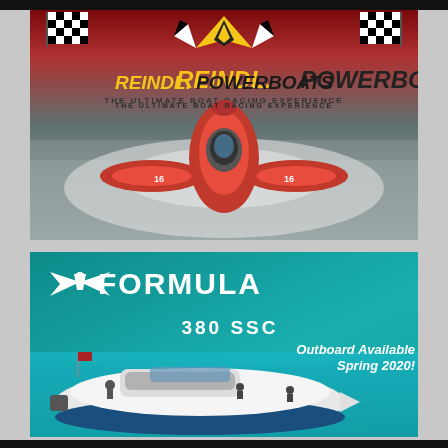[Figure (illustration): Reindl Powerboats advertisement. Red racing powerboat on water with checkered flags and yellow/black logo. Text: REINDL. POWERBOATS - THE ULTIMATE BOAT RACING EXPERIENCE]
[Figure (illustration): Formula boats advertisement on teal background. White luxury boat on blue water. Text: FORMULA 380 SSC Outboard Available Spring 2020!]